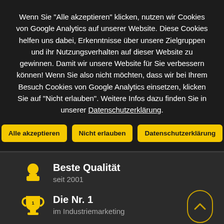Wenn Sie "Alle akzeptieren" klicken, nutzen wir Cookies von Google Analytics auf unserer Website. Diese Cookies helfen uns dabei, Erkenntnisse über unsere Zielgruppen und ihr Nutzungsverhalten auf dieser Website zu gewinnen. Damit wir unsere Website für Sie verbessern können! Wenn Sie also nicht möchten, dass wir bei Ihrem Besuch Cookies von Google Analytics einsetzen, klicken Sie auf "Nicht erlauben". Weitere Infos dazu finden Sie in unserer Datenschutzerklärung.
Alle akzeptieren
Nicht erlauben
Datenschutzerklärung
Beste Qualität
seit 2001
Die Nr. 1
im Industriemarketing